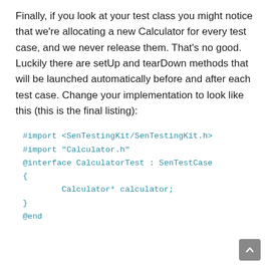Finally, if you look at your test class you might notice that we're allocating a new Calculator for every test case, and we never release them. That's no good. Luckily there are setUp and tearDown methods that will be launched automatically before and after each test case. Change your implementation to look like this (this is the final listing):
#import <SenTestingKit/SenTestingKit.h>
#import "Calculator.h"
@interface CalculatorTest : SenTestCase
{
        Calculator* calculator;
}
@end